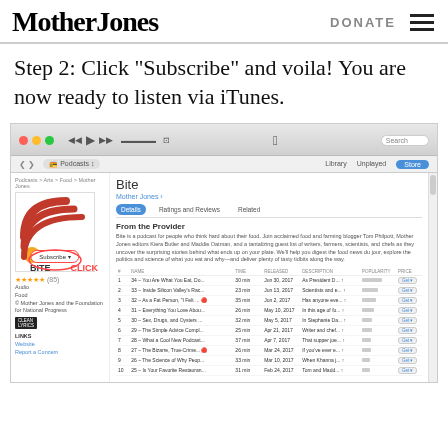[Figure (logo): Mother Jones logo in bold serif font]
Step 2: Click “Subscribe” and voila! You are now ready to listen via iTunes.
[Figure (screenshot): Screenshot of iTunes podcast page for 'Bite' by Mother Jones showing the Subscribe button with a red circle and CLICK arrow label, podcast artwork, episode list, and iTunes UI chrome including toolbar and navigation.]